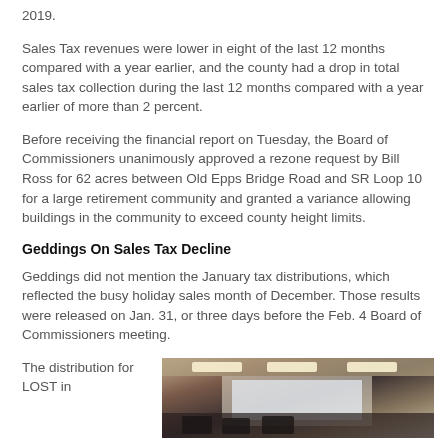2019.
Sales Tax revenues were lower in eight of the last 12 months compared with a year earlier, and the county had a drop in total sales tax collection during the last 12 months compared with a year earlier of more than 2 percent.
Before receiving the financial report on Tuesday, the Board of Commissioners unanimously approved a rezone request by Bill Ross for 62 acres between Old Epps Bridge Road and SR Loop 10 for a large retirement community and granted a variance allowing buildings in the community to exceed county height limits.
Geddings On Sales Tax Decline
Geddings did not mention the January tax distributions, which reflected the busy holiday sales month of December. Those results were released on Jan. 31, or three days before the Feb. 4 Board of Commissioners meeting.
The distribution for LOST in
[Figure (photo): Interior photo of a meeting room or conference room with ceiling lights and what appears to be a projection screen or presentation in progress.]